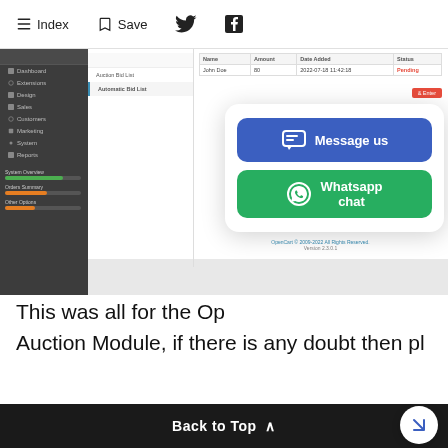Index  Save  (Twitter icon)  (Facebook icon)
[Figure (screenshot): Screenshot of an OpenCart admin panel showing a sidebar with menu items (Dashboard, Extensions, Design, Sales, Customers, Marketing, System, Reports) and a main area with a data table showing a row with John Doe, 80, 2022-07-18 11:42:18, Pending status. There are Auction Bid List and Automatic Bid List submenu items. A footer shows OpenCart copyright and Version 2.3.0.1. A progress bar widget is visible in the lower sidebar. A chat popup overlay appears on the right side with a blue 'Message us' button and a green 'Whatsapp chat' button.]
This was all for the Op
Auction Module, if there is any doubt then pl
Back to Top ∧